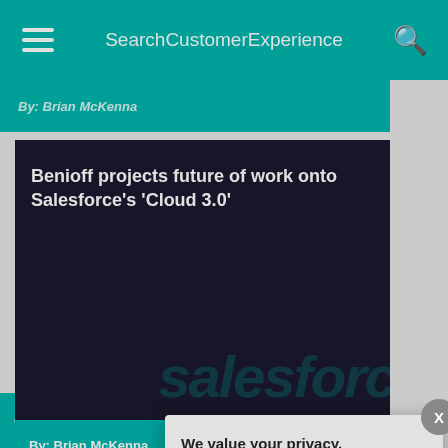SearchCustomerExperience
By: Brian McKenna
Benioff projects future of work onto Salesforce's 'Cloud 3.0'
By: Brian McKenna
-ADS BY GOOGLE
CONTENT MANAGE
We value your privacy. TechTarget and its partners employ cookies to improve your experience on our site, to analyze traffic and performance, and to serve personalized content and advertising that are relevant to your professional interests. You can manage your settings at any time. Please view our Privacy Policy for more information